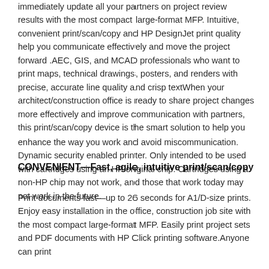immediately update all your partners on project review results with the most compact large-format MFP. Intuitive, convenient print/scan/copy and HP DesignJet print quality help you communicate effectively and move the project forward .AEC, GIS, and MCAD professionals who want to print maps, technical drawings, posters, and renders with precise, accurate line quality and crisp textWhen your architect/construction office is ready to share project changes more effectively and improve communication with partners, this print/scan/copy device is the smart solution to help you enhance the way you work and avoid miscommunication. Dynamic security enabled printer. Only intended to be used with cartridges using an HP original chip. Cartridges using a non-HP chip may not work, and those that work today may not work in the future.
CONVENIENT—Fast, agile, intuitive print/scan/copy
Print documents fast—up to 26 seconds for A1/D-size prints. Enjoy easy installation in the office, construction job site with the most compact large-format MFP. Easily print project sets and PDF documents with HP Click printing software.Anyone can print